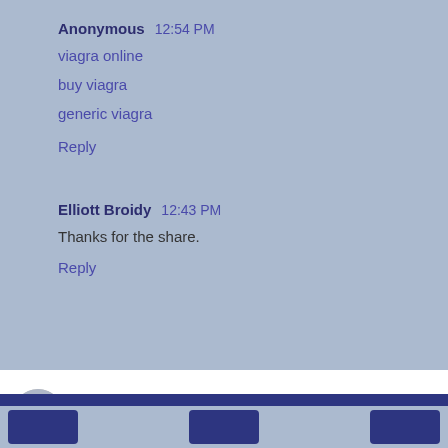Anonymous  12:54 PM
viagra online
buy viagra
generic viagra
Reply
Elliott Broidy  12:43 PM
Thanks for the share.
Reply
[Figure (screenshot): Comment input box with avatar and 'Enter Comment' placeholder text]
Footer navigation bar with buttons